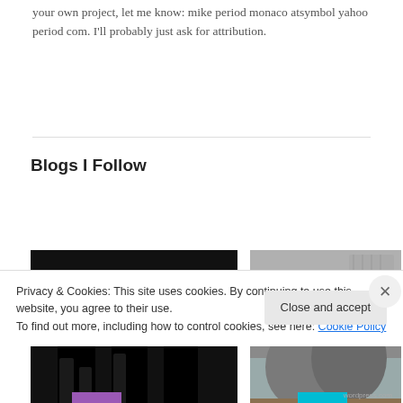your own project, let me know: mike period monaco atsymbol yahoo period com. I'll probably just ask for attribution.
Blogs I Follow
[Figure (photo): Black silhouette figures on dark background, appearing to be miniature or statue-like forms]
[Figure (photo): Painted miniature figures of fantasy/sci-fi creatures (orks/aliens) on a scenic base, detailed with green, grey, and brown colors]
Privacy & Cookies: This site uses cookies. By continuing to use this website, you agree to their use.
To find out more, including how to control cookies, see here: Cookie Policy
Close and accept